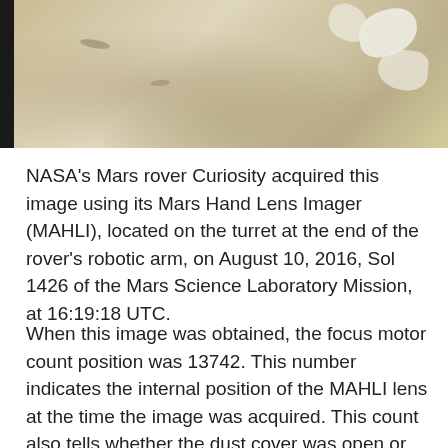[Figure (photo): Close-up photo of Martian surface showing sandy/dusty terrain with white pebble-like rocks in the upper right corner, taken by NASA's Curiosity rover MAHLI camera. A black vertical bar is visible on the left edge of the image.]
NASA's Mars rover Curiosity acquired this image using its Mars Hand Lens Imager (MAHLI), located on the turret at the end of the rover's robotic arm, on August 10, 2016, Sol 1426 of the Mars Science Laboratory Mission, at 16:19:18 UTC.
When this image was obtained, the focus motor count position was 13742. This number indicates the internal position of the MAHLI lens at the time the image was acquired. This count also tells whether the dust cover was open or closed. Values between 0 and 6000 mean the dust cover was closed; values between 12500 and 16000 occur when the cover is open. For close-up images, the motor count can in some cases be used to estimate the distance between the MAHLI lens and target. For example, in-focus images obtained with the dust cover open for which the lens